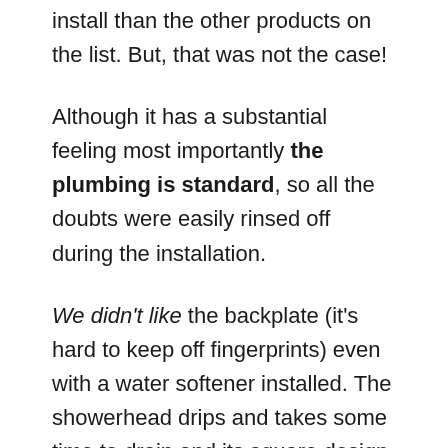install than the other products on the list. But, that was not the case!
Although it has a substantial feeling most importantly the plumbing is standard, so all the doubts were easily rinsed off during the installation.
We didn't like the backplate (it's hard to keep off fingerprints) even with a water softener installed. The showerhead drips and takes some time to drain and its square design didn't seem to help in this